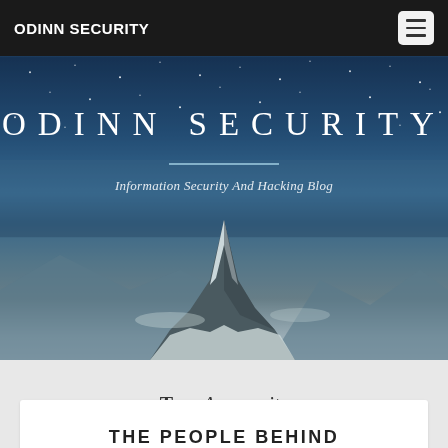ODINN SECURITY
[Figure (photo): Hero banner with mountain/Matterhorn peak under starry night sky background, with 'ODINN SECURITY' title text, a horizontal divider line, and subtitle 'Information Security And Hacking Blog']
Tag: Anonymity
THE PEOPLE BEHIND